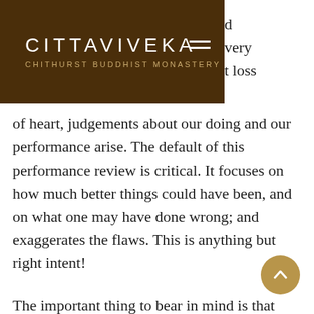CITTAVIVEKA CHITHURST BUDDHIST MONASTERY
d very t loss of heart, judgements about our doing and our performance arise. The default of this performance review is critical. It focuses on how much better things could have been, and on what one may have done wrong; and exaggerates the flaws. This is anything but right intent!
The important thing to bear in mind is that intent isn't the ideas in your head, but the bearing of your heart. A lot of ideas are confused, but even good ideas are a problem – just because they take you up into your head and into some abstract idea of what you should or couldn't be. But if we come from ideas